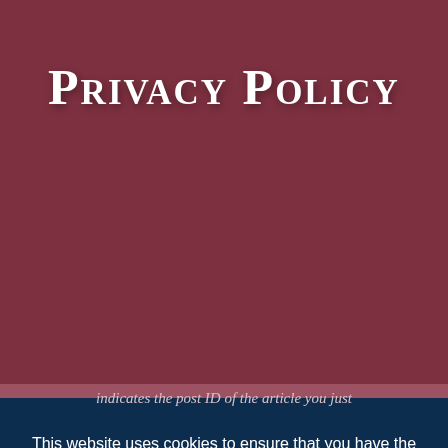Privacy Policy
indicates the post ID of the article you just
This website uses cookies to ensure that you have the best experience while you're here. If you continue to use this site, you acknowledge and accept the utilization of cookies.
COOKIES ARE ACCEPTABLE
ONLY NECESSARY COOKIES
PRIVACY POLICY